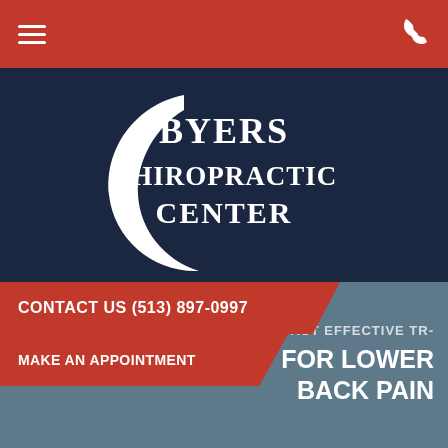≡  [phone icon]
[Figure (logo): Byers Chiropractic Center logo — white crescent moon shape with text 'Byers Chiropractic Center' in white on dark navy background]
CONTACT US (513) 897-0997
MAKE AN APPOINTMENT
FAST EFFECTIVE TREATMENT FOR LOWER BACK PAIN
Home / Dr. Jim S Blog / Fast Effective Treatment For Lower Back Pain